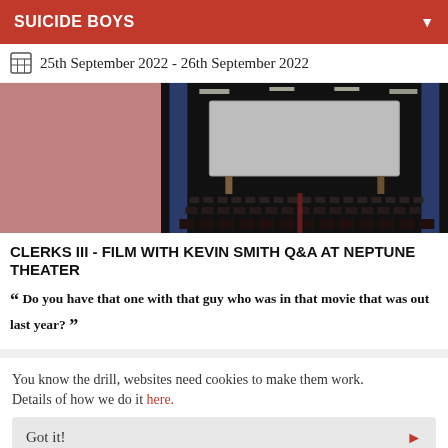SUICIDE BOYS
25th September 2022 - 26th September 2022
[Figure (photo): Cinema interior with a large screen, rows of seats in a dark auditorium. Left portion has a pink/rose blurred background.]
CLERKS III - FILM WITH KEVIN SMITH Q&A AT NEPTUNE THEATER
“ Do you have that one with that guy who was in that movie that was out last year? ”
You know the drill, websites need cookies to make them work. Details of how we do it here.
Got it!